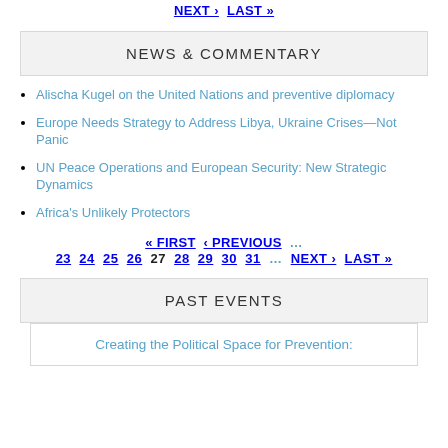NEXT › LAST »
NEWS & COMMENTARY
Alischa Kugel on the United Nations and preventive diplomacy
Europe Needs Strategy to Address Libya, Ukraine Crises—Not Panic
UN Peace Operations and European Security: New Strategic Dynamics
Africa's Unlikely Protectors
« FIRST ‹ PREVIOUS … 23 24 25 26 27 28 29 30 31 … NEXT › LAST »
PAST EVENTS
Creating the Political Space for Prevention: